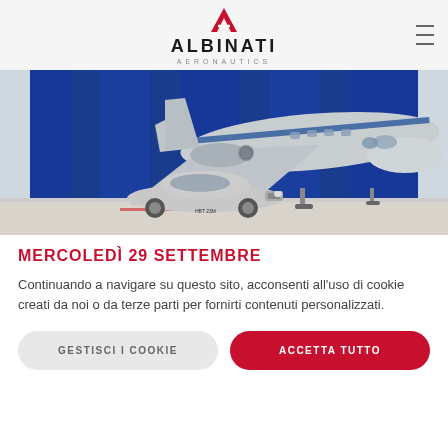ALBINATI AERONAUTICS
[Figure (photo): Private jet aircraft (silver/white with blue stripe, registration HB-JM visible) parked in a hangar next to a classic silver Aston Martin DB5 car, with blue curtain backdrop]
MERCOLEDÌ 29 SETTEMBRE
Continuando a navigare su questo sito, acconsenti all'uso di cookie creati da noi o da terze parti per fornirti contenuti personalizzati.
GESTISCI I COOKIE
ACCETTA TUTTO